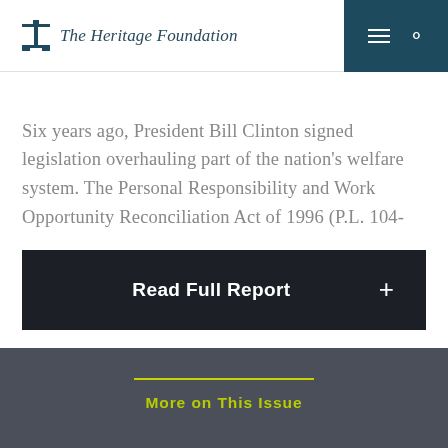The Heritage Foundation
Six years ago, President Bill Clinton signed legislation overhauling part of the nation’s welfare system. The Personal Responsibility and Work Opportunity Reconciliation Act of 1996 (P.L. 104-
Read Full Report +
More on This Issue
Welfare